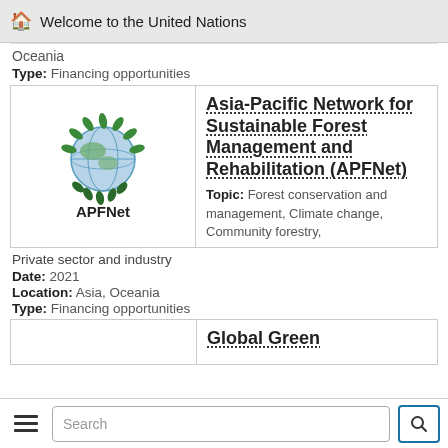Welcome to the United Nations
Oceania
Type: Financing opportunities
[Figure (logo): APFNet logo — green leaf wreath around a globe, with text 'APFNet' below]
Asia-Pacific Network for Sustainable Forest Management and Rehabilitation (APFNet)
Topic: Forest conservation and management, Climate change, Community forestry,
Private sector and industry
Date: 2021
Location: Asia, Oceania
Type: Financing opportunities
Global Green